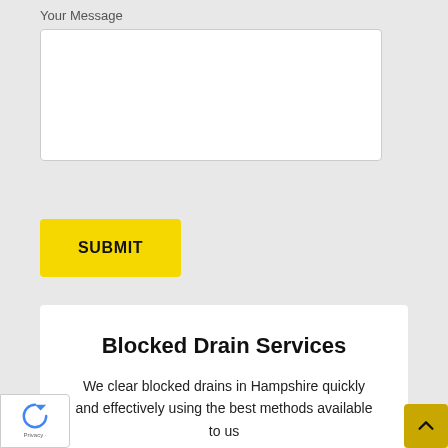Your Message
[Figure (other): Empty white textarea input field for message]
SUBMIT
Blocked Drain Services
We clear blocked drains in Hampshire quickly and effectively using the best methods available to us